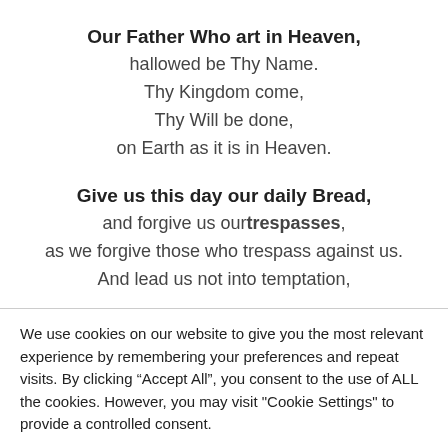Our Father Who art in Heaven, hallowed be Thy Name. Thy Kingdom come, Thy Will be done, on Earth as it is in Heaven.
Give us this day our daily Bread, and forgive us our trespasses, as we forgive those who trespass against us. And lead us not into temptation,
We use cookies on our website to give you the most relevant experience by remembering your preferences and repeat visits. By clicking “Accept All”, you consent to the use of ALL the cookies. However, you may visit "Cookie Settings" to provide a controlled consent.